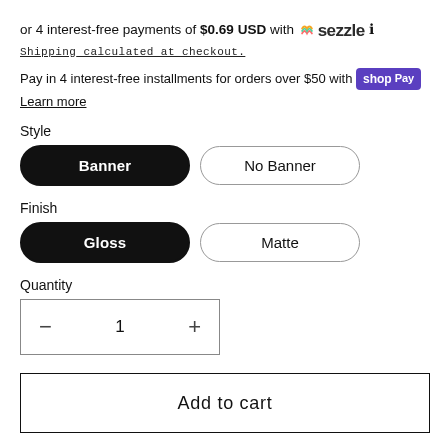or 4 interest-free payments of $0.69 USD with Sezzle ℹ
Shipping calculated at checkout.
Pay in 4 interest-free installments for orders over $50 with Shop Pay
Learn more
Style
Banner
No Banner
Finish
Gloss
Matte
Quantity
− 1 +
Add to cart